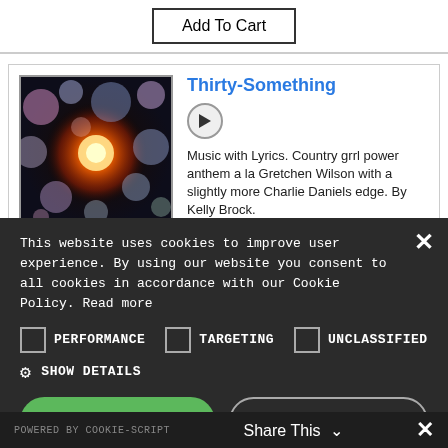Add To Cart
Thirty-Something
[Figure (photo): Album art / music thumbnail with bokeh lights on dark background — orange center glow with multicolor bokeh circles]
Music with Lyrics. Country grrl power anthem a la Gretchen Wilson with a slightly more Charlie Daniels edge. By Kelly Brock.
Price: $267.00
This website uses cookies to improve user experience. By using our website you consent to all cookies in accordance with our Cookie Policy. Read more
PERFORMANCE
TARGETING
UNCLASSIFIED
SHOW DETAILS
ACCEPT ALL
DECLINE ALL
POWERED BY COOKIE-SCRIPT   Share This ∨   ✕